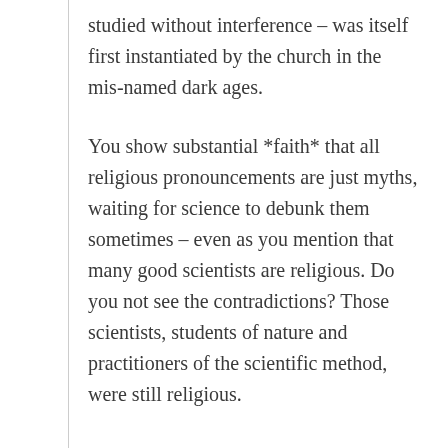studied without interference – was itself first instantiated by the church in the mis-named dark ages.
You show substantial *faith* that all religious pronouncements are just myths, waiting for science to debunk them sometimes – even as you mention that many good scientists are religious. Do you not see the contradictions? Those scientists, students of nature and practitioners of the scientific method, were still religious.